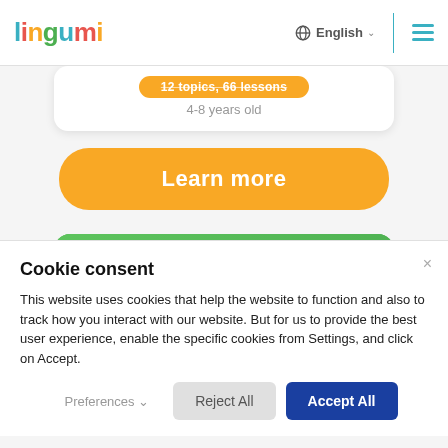lingumi | English
12 topics, 66 lessons
4-8 years old
Learn more
[Figure (photo): A smiling woman with a raised hand next to a tablet showing a cartoon orange cat, on a green background]
Cookie consent
This website uses cookies that help the website to function and also to track how you interact with our website. But for us to provide the best user experience, enable the specific cookies from Settings, and click on Accept.
Preferences  Reject All  Accept All